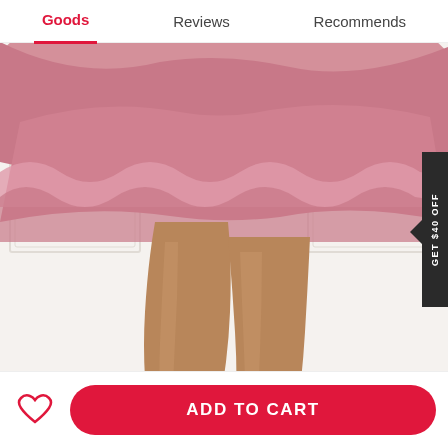Goods | Reviews | Recommends
[Figure (photo): E-commerce product page showing woman's legs wearing black strappy high heel sandals with a pink ruffled mini skirt, standing on light wood floor against white paneled wall background.]
GET $40 OFF
US$38.99
(20)
We use cookies to offer you the best possible service. By continuing to browse you agree to
ADD TO CART